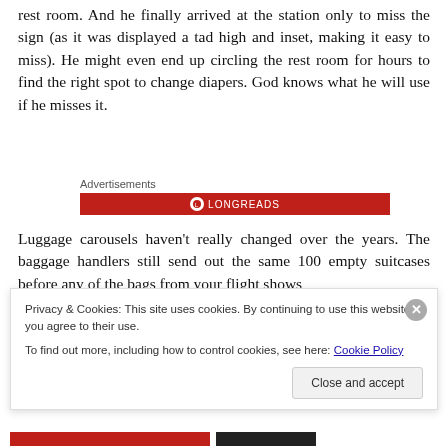rest room. And he finally arrived at the station only to miss the sign (as it was displayed a tad high and inset, making it easy to miss). He might even end up circling the rest room for hours to find the right spot to change diapers. God knows what he will use if he misses it.
[Figure (other): Advertisements banner with red Longreads logo strip]
Luggage carousels haven't really changed over the years. The baggage handlers still send out the same 100 empty suitcases before any of the bags from your flight shows
Privacy & Cookies: This site uses cookies. By continuing to use this website, you agree to their use.
To find out more, including how to control cookies, see here: Cookie Policy
Close and accept